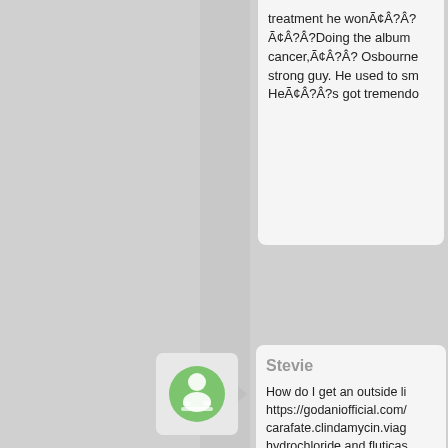treatment he wonÃ¢Â?Â?Ã¢Â?Â?Doing the album cancer,Ã¢Â?Â? Osbourne strong guy. He used to sm HeÃ¢Â?Â?s got tremendo
[Figure (illustration): Green avatar icon of a person sitting at a desk/computer, in a rounded square white box with a right-pointing arrow]
Stevie
How do I get an outside li https://godaniofficial.com/ carafate.clindamycin.viag hydrochloride and fluticas Obama's ability to calm Is withIran might be limited b lobbyin Washington and l aisle who arequick to defe
[Figure (illustration): Green avatar icon of a person sitting at a desk/computer, in a rounded square white box with a right-pointing arrow]
Andrew
A few months https://nca- api.whagons.com/stmap